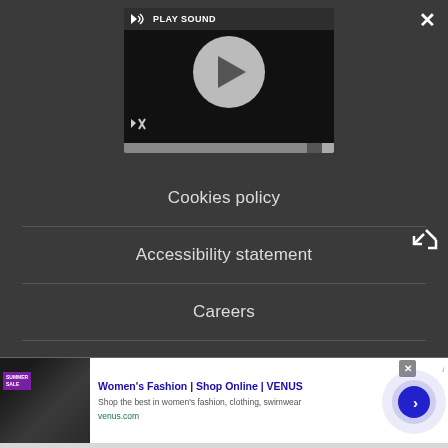[Figure (screenshot): Video player with play button, play sound label, mute icon, and progress bar on dark background]
Cookies policy
Accessibility statement
Careers
Do not sell my info
[Figure (screenshot): Advertisement banner: Women's Fashion | Shop Online | VENUS — Shop the best in women's fashion, clothing, swimwear — venus.com]